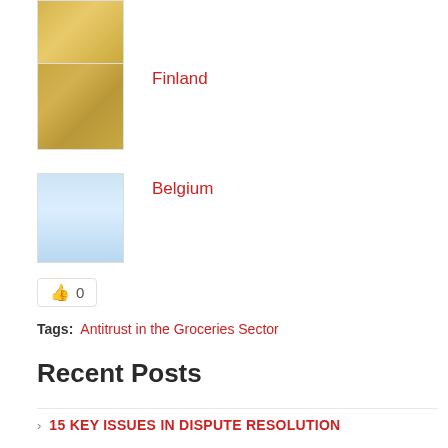[Figure (photo): Golden wheat/grain field thumbnail image (top, partially visible)]
[Figure (photo): Golden wheat stalks close-up thumbnail image]
Finland
[Figure (photo): Blue sky thumbnail image]
Belgium
👍 0
Tags:  Antitrust in the Groceries Sector
Recent Posts
15 KEY ISSUES IN DISPUTE RESOLUTION